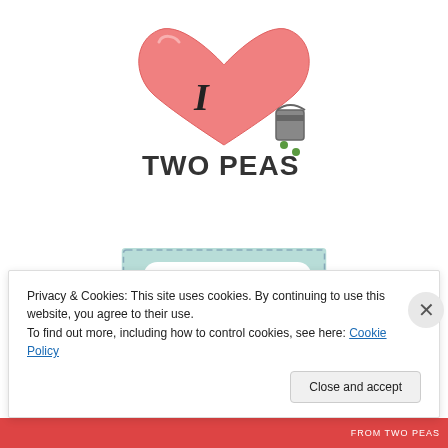[Figure (logo): I Love Two Peas logo — pink/red heart with cursive 'I', text 'TWO PEAS' with a small bucket and peas illustration]
[Figure (illustration): Advertisement banner on light teal/mint background with dashed border. Speech bubble reads 'ONE STOP SHOPPING for stamping & papercrafting!' with a cartoon peeking character (brown hair, large round glasses).]
Privacy & Cookies: This site uses cookies. By continuing to use this website, you agree to their use.
To find out more, including how to control cookies, see here: Cookie Policy
Close and accept